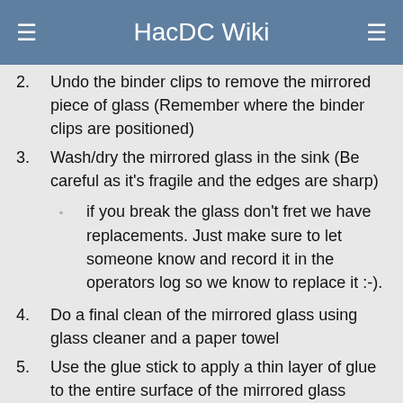HacDC Wiki
2. Undo the binder clips to remove the mirrored piece of glass (Remember where the binder clips are positioned)
3. Wash/dry the mirrored glass in the sink (Be careful as it's fragile and the edges are sharp)
if you break the glass don't fret we have replacements. Just make sure to let someone know and record it in the operators log so we know to replace it :-).
4. Do a final clean of the mirrored glass using glass cleaner and a paper towel
5. Use the glue stick to apply a thin layer of glue to the entire surface of the mirrored glass THOROUGHLY (This is so the plastic will stick but will still be removable when done)